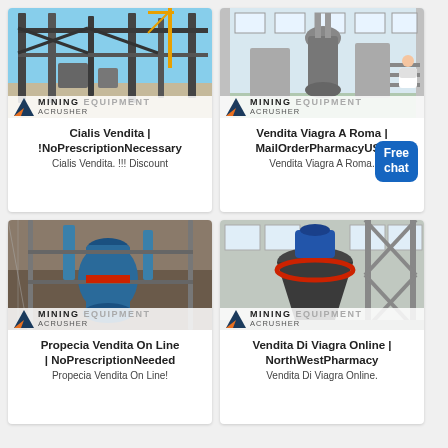[Figure (photo): Mining equipment / industrial steel structure construction site with Mining Equipment Acrusher logo overlay]
Cialis Vendita | !NoPrescriptionNecessary
Cialis Vendita. !!! Discount
[Figure (photo): Mining equipment / industrial mill equipment interior with Mining Equipment Acrusher logo overlay]
Vendita Viagra A Roma | MailOrderPharmacyUSA
Vendita Viagra A Roma.
[Figure (photo): Mining equipment / blue grinding mill machine with Mining Equipment Acrusher logo overlay]
Propecia Vendita On Line | NoPrescriptionNeeded
Propecia Vendita On Line!
[Figure (photo): Mining equipment / large industrial crusher machine indoors with Mining Equipment Acrusher logo overlay]
Vendita Di Viagra Online | NorthWestPharmacy
Vendita Di Viagra Online.